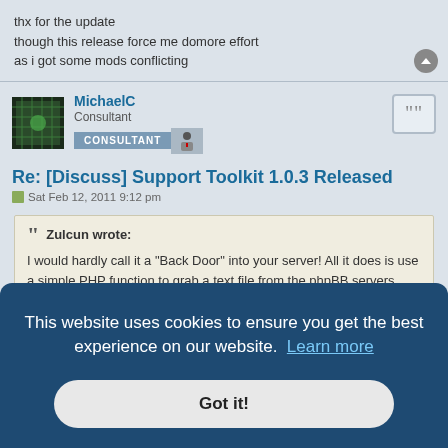thx for the update
though this release force me domore effort
as i got some mods conflicting
MichaelC
Consultant
Re: [Discuss] Support Toolkit 1.0.3 Released
Sat Feb 12, 2011 9:12 pm
Zulcun wrote:
I would hardly call it a "Back Door" into your server! All it does is use a simple PHP function to grab a text file from the phpBB servers, which only contains the latest version number, if the version numbers match
This website uses cookies to ensure you get the best experience on our website.  Learn more
Got it!